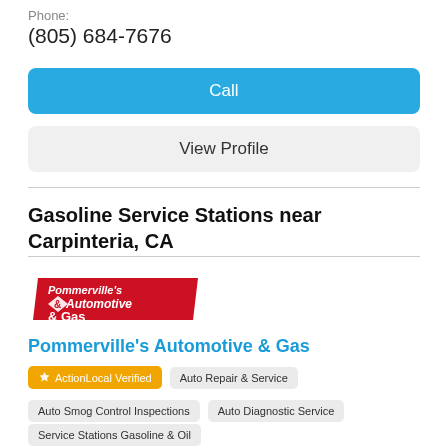Phone:
(805) 684-7676
Call
View Profile
Gasoline Service Stations near Carpinteria, CA
[Figure (logo): Pommerville's Automotive & Gas logo in red with stylized text]
Pommerville's Automotive & Gas
ActionLocal Verified
Auto Repair & Service
Auto Smog Control Inspections
Auto Diagnostic Service
Service Stations Gasoline & Oil